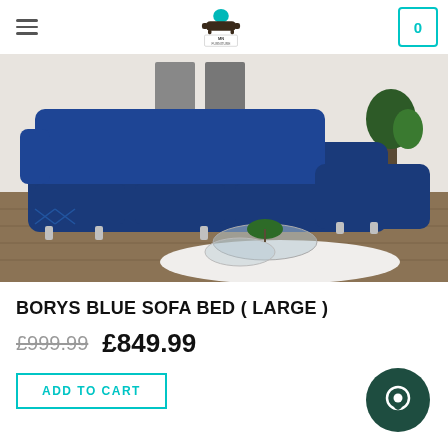MN FURNITURE
[Figure (photo): Large navy blue velvet corner sofa bed (BORYS) with diamond stitch detailing on the base, chrome legs, displayed in a modern living room with hardwood floors, white fluffy rug, glass coffee table with decorative items, and plants in background.]
BORYS BLUE SOFA BED ( LARGE )
£999.99  £849.99
ADD TO CART